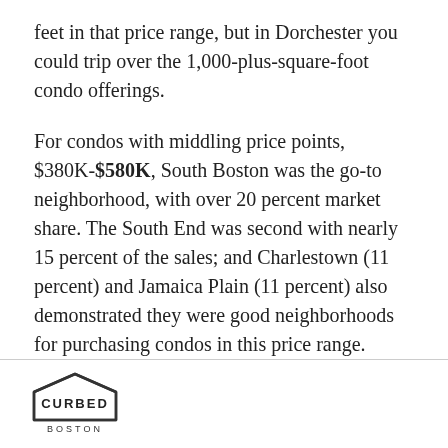feet in that price range, but in Dorchester you could trip over the 1,000-plus-square-foot condo offerings.
For condos with middling price points, $380K-$580K, South Boston was the go-to neighborhood, with over 20 percent market share. The South End was second with nearly 15 percent of the sales; and Charlestown (11 percent) and Jamaica Plain (11 percent) also demonstrated they were good neighborhoods for purchasing condos in this price range.
CURBED BOSTON